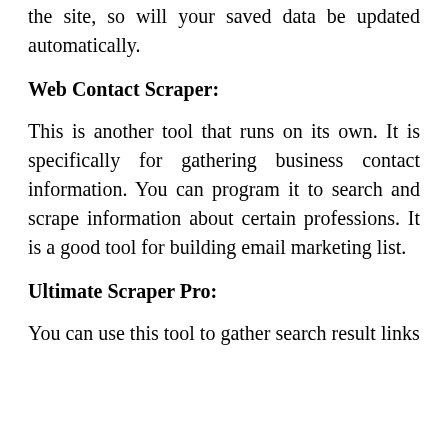the site, so will your saved data be updated automatically.
Web Contact Scraper:
This is another tool that runs on its own. It is specifically for gathering business contact information. You can program it to search and scrape information about certain professions. It is a good tool for building email marketing list.
Ultimate Scraper Pro:
You can use this tool to gather search result links